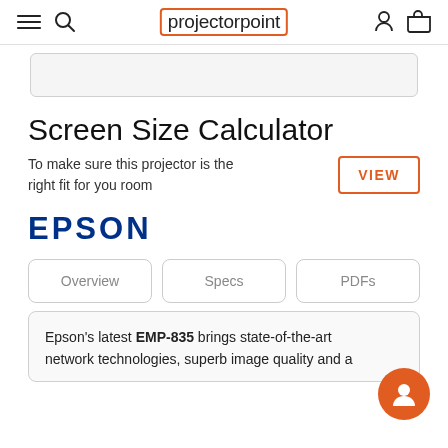projectorpoint
[Figure (screenshot): Gray rounded-rectangle placeholder box]
Screen Size Calculator
To make sure this projector is the right fit for you room
VIEW
[Figure (logo): EPSON logo in dark blue bold text]
Overview
Specs
PDFs
Epson's latest EMP-835 brings state-of-the-art network technologies, superb image quality and a